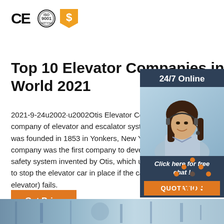[Figure (logo): CE mark, ISO 9001 badge, and dollar/price badge icons in top left corner]
Top 10 Elevator Companies in World 2021
2021-9-24u2002·u2002Otis Elevator Company of elevator and escalator systems. was founded in 1853 in Yonkers, New York, U company was the first company to develop a safety system invented by Otis, which uses a to stop the elevator car in place if the cable c elevator) fails.
[Figure (photo): Sidebar panel with dark blue/slate background showing '24/7 Online' text at top, a photo of a smiling woman with headset, 'Click here for free chat!' text, and an orange QUOTATION button at bottom]
[Figure (logo): Orange TOP logo with dotted triangle icon above the letters, positioned bottom right]
[Figure (photo): Bottom image strip showing industrial elevator or mechanical equipment in blue-grey tones]